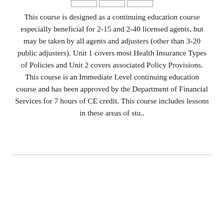[Figure (table-as-image): Three small empty rectangular cells at the top of the page]
This course is designed as a continuing education course especially beneficial for 2-15 and 2-40 licensed agents, but may be taken by all agents and adjusters (other than 3-20 public adjusters). Unit 1 covers most Health Insurance Types of Policies and Unit 2 covers associated Policy Provisions. This course is an Immediate Level continuing education course and has been approved by the Department of Financial Services for 7 hours of CE credit. This course includes lessons in these areas of stu..